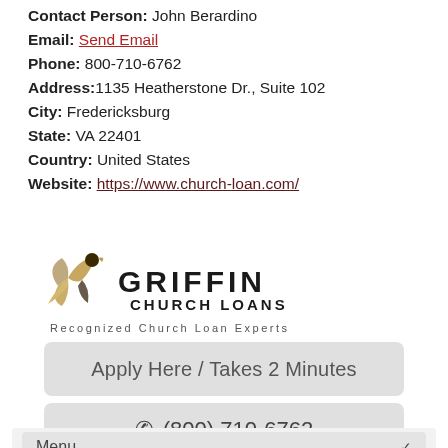Contact Person: John Berardino
Email: Send Email
Phone: 800-710-6762
Address: 1135 Heatherstone Dr., Suite 102
City: Fredericksburg
State: VA 22401
Country: United States
Website: https://www.church-loan.com/
[Figure (logo): Griffin Church Loans logo with bird/cross graphic and tagline 'Recognized Church Loan Experts']
Apply Here / Takes 2 Minutes
(800) 710-6762
Menu